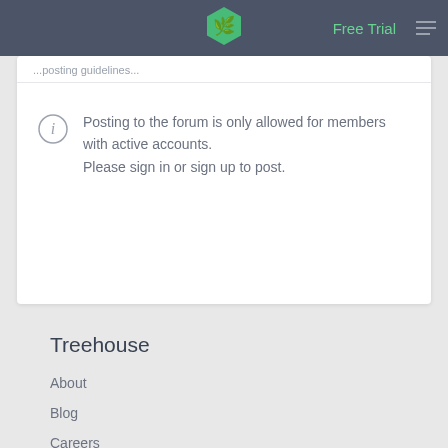Free Trial
[Figure (logo): Treehouse green hexagon leaf logo in navigation bar]
Posting to the forum is only allowed for members with active accounts.
Please sign in or sign up to post.
Treehouse
About
Blog
Careers